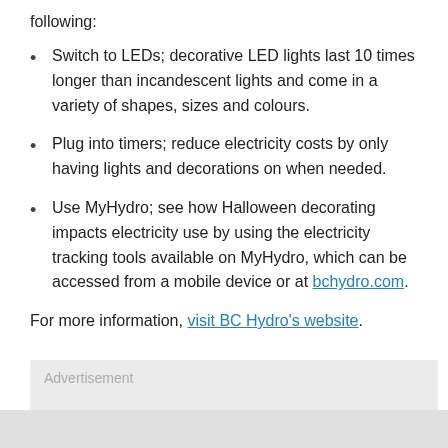following:
Switch to LEDs; decorative LED lights last 10 times longer than incandescent lights and come in a variety of shapes, sizes and colours.
Plug into timers; reduce electricity costs by only having lights and decorations on when needed.
Use MyHydro; see how Halloween decorating impacts electricity use by using the electricity tracking tools available on MyHydro, which can be accessed from a mobile device or at bchydro.com.
For more information, visit BC Hydro's website.
[Figure (other): Advertisement box with close button]